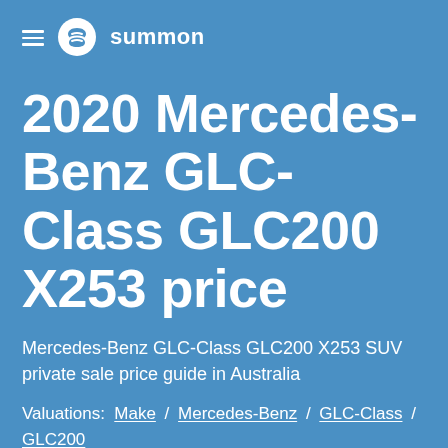summon
2020 Mercedes-Benz GLC-Class GLC200 X253 price
Mercedes-Benz GLC-Class GLC200 X253 SUV private sale price guide in Australia
Valuations: Make / Mercedes-Benz / GLC-Class / GLC200